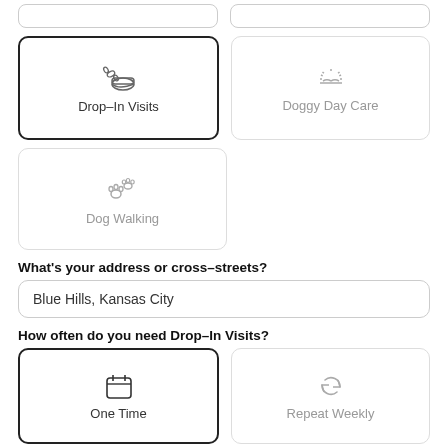[Figure (screenshot): Two partially visible rounded rectangle placeholder boxes at top]
Drop-In Visits (selected service card)
Doggy Day Care (service card)
Dog Walking (service card)
What’s your address or cross-streets?
Blue Hills, Kansas City
How often do you need Drop-In Visits?
One Time (selected frequency card)
Repeat Weekly (frequency card)
Which dates do you need?